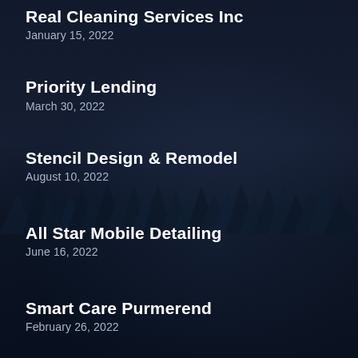Real Cleaning Services Inc
January 15, 2022
Priority Lending
March 30, 2022
Stencil Design & Remodel
August 10, 2022
All Star Mobile Detailing
June 16, 2022
Smart Care Purmerend
February 26, 2022
Corporate Entertainment Regina Dj Service
October 8, 2021